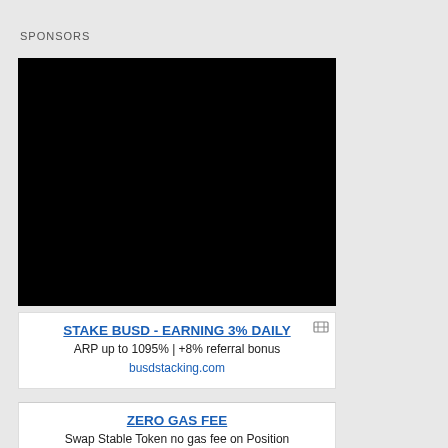SPONSORS
[Figure (other): Black rectangle advertisement placeholder]
STAKE BUSD - EARNING 3% DAILY
ARP up to 1095% | +8% referral bonus
busdstacking.com
ZERO GAS FEE
Swap Stable Token no gas fee on Position